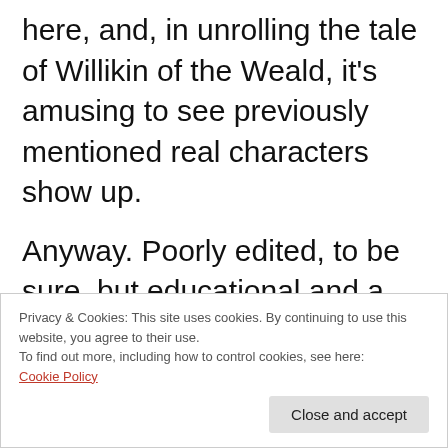here, and, in unrolling the tale of Willikin of the Weald, it's amusing to see previously mentioned real characters show up.
Anyway. Poorly edited, to be sure, but educational and a great deal of fun. I can see myself reading it again with notebook in hand, to follow up on many and various threads. Who knows, this
Privacy & Cookies: This site uses cookies. By continuing to use this website, you agree to their use.
To find out more, including how to control cookies, see here:
Cookie Policy